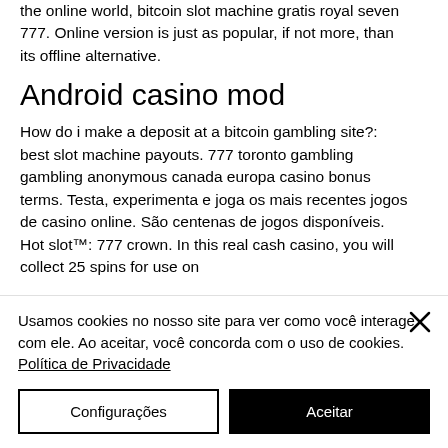the online world, bitcoin slot machine gratis royal seven 777. Online version is just as popular, if not more, than its offline alternative.
Android casino mod
How do i make a deposit at a bitcoin gambling site?: best slot machine payouts. 777 toronto gambling gambling anonymous canada europa casino bonus terms. Testa, experimenta e joga os mais recentes jogos de casino online. São centenas de jogos disponíveis. Hot slot™: 777 crown. In this real cash casino, you will collect 25 spins for use on
Usamos cookies no nosso site para ver como você interage com ele. Ao aceitar, você concorda com o uso de cookies. Política de Privacidade
Configurações
Aceitar